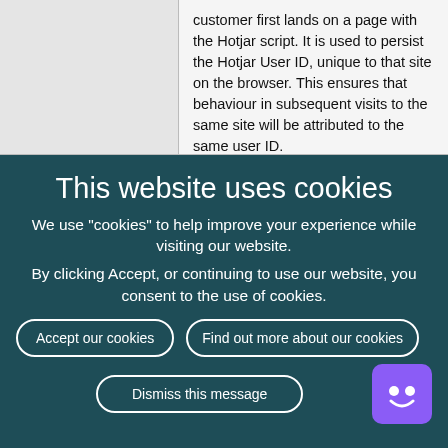|  | customer first lands on a page with the Hotjar script. It is used to persist the Hotjar User ID, unique to that site on the browser. This ensures that behaviour in subsequent visits to the same site will be attributed to the same user ID. |
This website uses cookies
We use "cookies" to help improve your experience while visiting our website.
By clicking Accept, or continuing to use our website, you consent to the use of cookies.
Accept our cookies
Find out more about our cookies
Dismiss this message